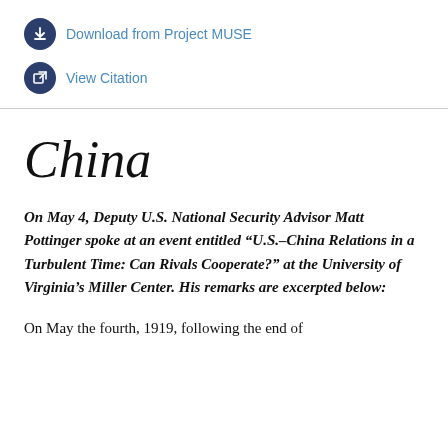Download from Project MUSE
View Citation
China
On May 4, Deputy U.S. National Security Advisor Matt Pottinger spoke at an event entitled “U.S.–China Relations in a Turbulent Time: Can Rivals Cooperate?” at the University of Virginia’s Miller Center. His remarks are excerpted below:
On May the fourth, 1919, following the end of